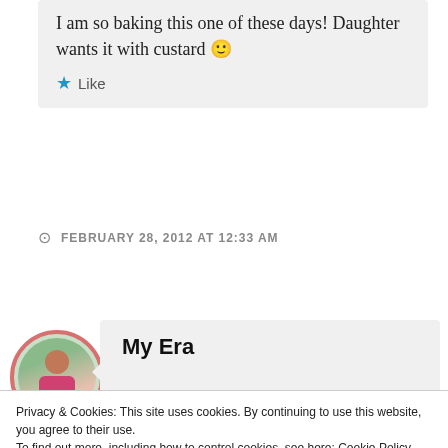I am so baking this one of these days! Daughter wants it with custard 🙂
★ Like
FEBRUARY 28, 2012 AT 12:33 AM
My Era
Privacy & Cookies: This site uses cookies. By continuing to use this website, you agree to their use. To find out more, including how to control cookies, see here: Cookie Policy
Close and accept
FEBRUARY 28, 2012 AT 6:18